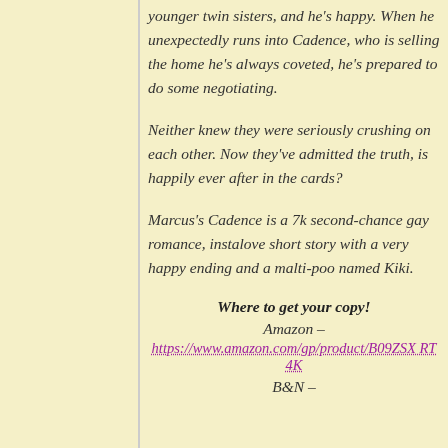younger twin sisters, and he's happy. When he unexpectedly runs into Cadence, who is selling the home he's always coveted, he's prepared to do some negotiating.
Neither knew they were seriously crushing on each other. Now they've admitted the truth, is happily ever after in the cards?
Marcus's Cadence is a 7k second-chance gay romance, instalove short story with a very happy ending and a malti-poo named Kiki.
Where to get your copy!
Amazon –
https://www.amazon.com/gp/product/B09ZSXRT4K
B&N –